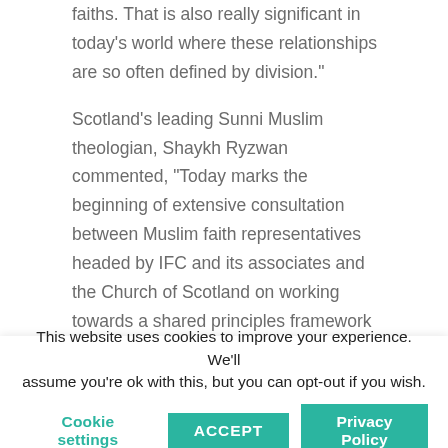faiths. That is also really significant in today's world where these relationships are so often defined by division."

Scotland's leading Sunni Muslim theologian, Shaykh Ryzwan commented, “Today marks the beginning of extensive consultation between Muslim faith representatives headed by IFC and its associates and the Church of Scotland on working towards a shared principles framework distilled from the intellectual legacy of the two great faith traditions that will inform the debate on ethical and sustainable models of
This website uses cookies to improve your experience. We'll assume you're ok with this, but you can opt-out if you wish.
Cookie settings | ACCEPT | Privacy Policy